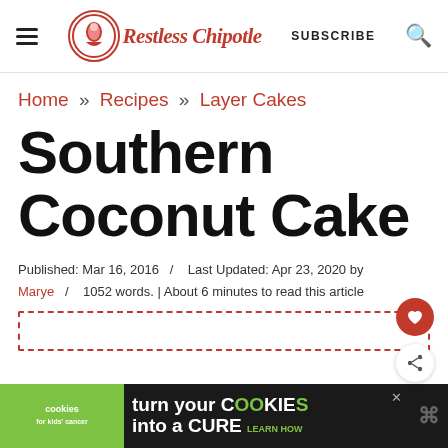Restless Chipotle — SUBSCRIBE
Home » Recipes » Layer Cakes
Southern Coconut Cake
Published: Mar 16, 2016  /   Last Updated: Apr 23, 2020 by Marye  /   1052 words. | About 6 minutes to read this article
[Figure (other): Advertisement banner: Cookies for Kids' Cancer — turn your COOKIES into a CURE LEARN HOW]